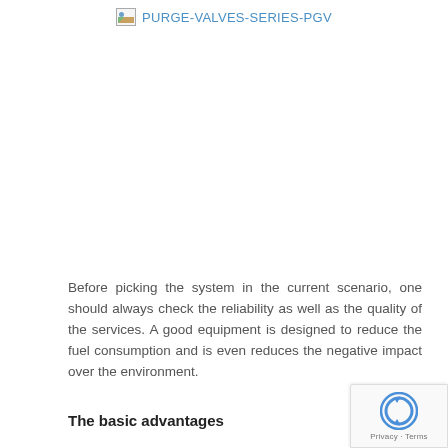PURGE-VALVES-SERIES-PGV
[Figure (photo): Product image placeholder for PURGE-VALVES-SERIES-PGV (broken/missing image)]
Before picking the system in the current scenario, one should always check the reliability as well as the quality of the services. A good equipment is designed to reduce the fuel consumption and is even reduces the negative impact over the environment.
The basic advantages